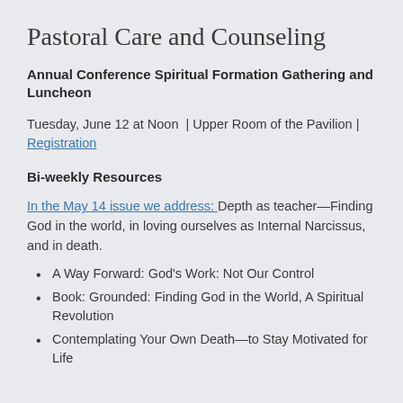Pastoral Care and Counseling
Annual Conference Spiritual Formation Gathering and Luncheon
Tuesday, June 12 at Noon  | Upper Room of the Pavilion | Registration
Bi-weekly Resources
In the May 14 issue we address:  Depth as teacher—Finding God in the world, in loving ourselves as Internal Narcissus, and in death.
A Way Forward: God's Work: Not Our Control
Book: Grounded: Finding God in the World, A Spiritual Revolution
Contemplating Your Own Death—to Stay Motivated for Life